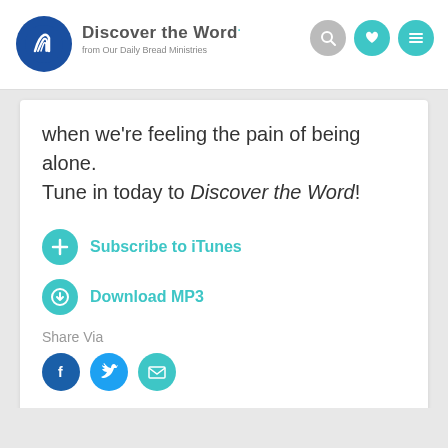Discover the Word. from Our Daily Bread Ministries
when we're feeling the pain of being alone. Tune in today to Discover the Word!
Subscribe to iTunes
Download MP3
Share Via
[Figure (screenshot): Audio player with play button, skip 30s button, progress bar showing 00:00 | 14:28]